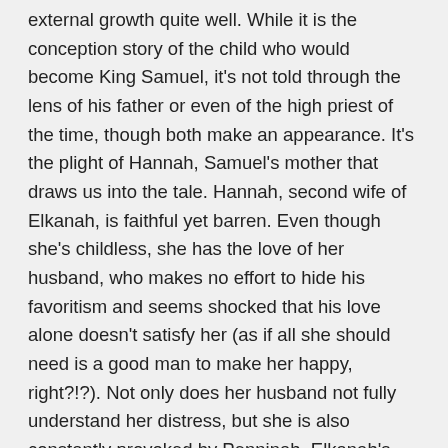external growth quite well. While it is the conception story of the child who would become King Samuel, it's not told through the lens of his father or even of the high priest of the time, though both make an appearance. It's the plight of Hannah, Samuel's mother that draws us into the tale. Hannah, second wife of Elkanah, is faithful yet barren. Even though she's childless, she has the love of her husband, who makes no effort to hide his favoritism and seems shocked that his love alone doesn't satisfy her (as if all she should need is a good man to make her happy, right?!?). Not only does her husband not fully understand her distress, but she is also constantly provoked by Penninah, Elkanah's first wife who has sons and daughters. In case we've forgotten, fertility was considered a gift from God, and even though Penninah provokes her severely, irritates her because she hasn't borne children, Hannah doesn't rebuke her. Hannah internalizes her grief. She weeps and fasts, and one day